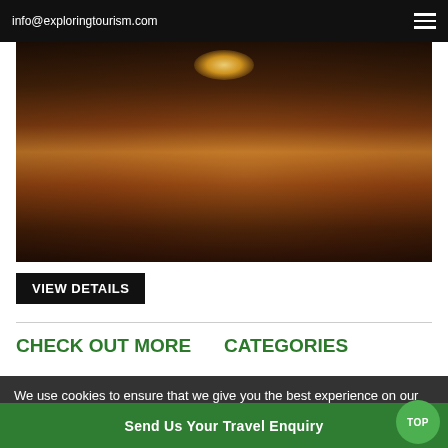info@exploringtourism.com
[Figure (photo): Night scene of a European canal or street with warm golden lights reflecting on water, half-timbered buildings on both sides]
VIEW DETAILS
CHECK OUT MORE
CATEGORIES
We use cookies to ensure that we give you the best experience on our website  Accept  Cookies Policy
Send Us Your Travel Enquiry